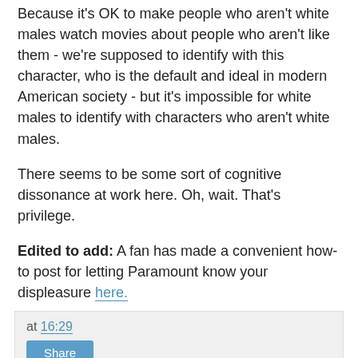Because it's OK to make people who aren't white males watch movies about people who aren't like them - we're supposed to identify with this character, who is the default and ideal in modern American society - but it's impossible for white males to identify with characters who aren't white males.
There seems to be some sort of cognitive dissonance at work here. Oh, wait. That's privilege.
Edited to add: A fan has made a convenient how-to post for letting Paramount know your displeasure here.
at 16:29
Share
4 comments:
Anonymous 12 December, 2008 21:22